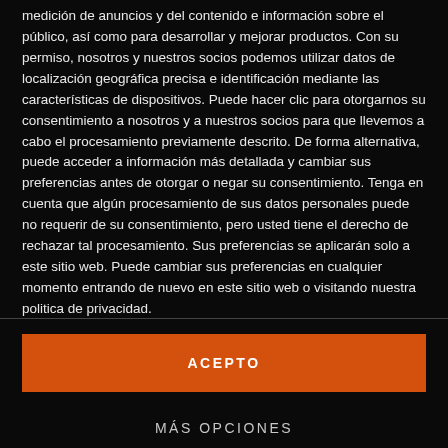medición de anuncios y del contenido e información sobre el público, así como para desarrollar y mejorar productos. Con su permiso, nosotros y nuestros socios podemos utilizar datos de localización geográfica precisa e identificación mediante las características de dispositivos. Puede hacer clic para otorgarnos su consentimiento a nosotros y a nuestros socios para que llevemos a cabo el procesamiento previamente descrito. De forma alternativa, puede acceder a información más detallada y cambiar sus preferencias antes de otorgar o negar su consentimiento. Tenga en cuenta que algún procesamiento de sus datos personales puede no requerir de su consentimiento, pero usted tiene el derecho de rechazar tal procesamiento. Sus preferencias se aplicarán solo a este sitio web. Puede cambiar sus preferencias en cualquier momento entrando de nuevo en este sitio web o visitando nuestra politica de privacidad.
ACEPTO
MÁS OPCIONES